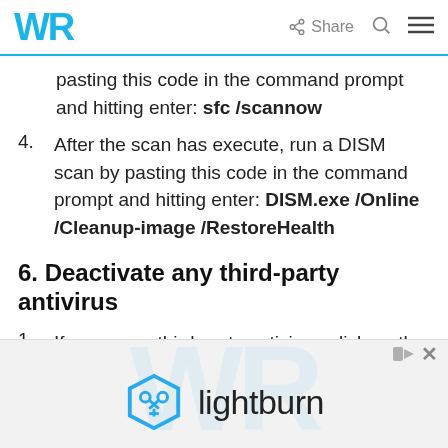WR | Share [search] [menu]
pasting this code in the command prompt and hitting enter: sfc /scannow
4. After the scan has execute, run a DISM scan by pasting this code in the command prompt and hitting enter: DISM.exe /Online /Cleanup-image /RestoreHealth
6. Deactivate any third-party antivirus
1. If you use a third-party antivirus, click on th start menu and type the name, then select …
[Figure (other): Advertisement banner for lightburn software with hexagonal logo]